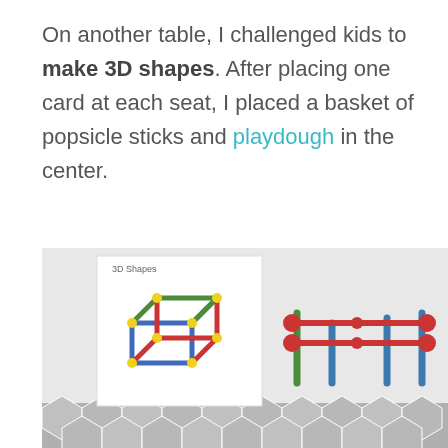On another table, I challenged kids to make 3D shapes. After placing one card at each seat, I placed a basket of popsicle sticks and playdough in the center.
[Figure (photo): A photo showing a white card labeled '3D Shapes' with a colorful cube made of popsicle sticks (blue, green, red) and yellow playdough joints, and next to it a 3D rectangular frame structure made with red, green, and blue popsicle sticks connected with red playdough balls, on a table with a geometric patterned surface.]